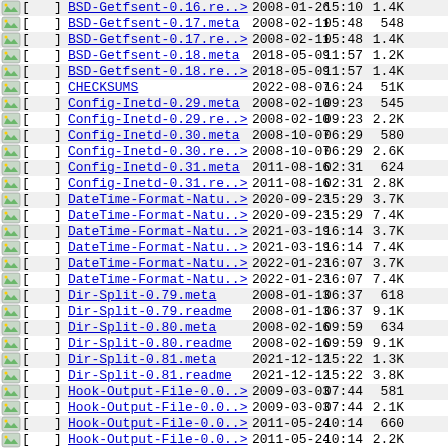| icon | [ | ] | filename | date | time | size |
| --- | --- | --- | --- | --- | --- | --- |
| [img] | [ | ] | BSD-Getfsent-0.16.re..> | 2008-01-26 | 15:10 | 1.4K |
| [img] | [ | ] | BSD-Getfsent-0.17.meta | 2008-02-11 | 05:48 | 548 |
| [img] | [ | ] | BSD-Getfsent-0.17.re..> | 2008-02-11 | 05:48 | 1.4K |
| [img] | [ | ] | BSD-Getfsent-0.18.meta | 2018-05-09 | 11:57 | 1.2K |
| [img] | [ | ] | BSD-Getfsent-0.18.re..> | 2018-05-09 | 11:57 | 1.4K |
| [img] | [ | ] | CHECKSUMS | 2022-08-07 | 16:24 | 51K |
| [img] | [ | ] | Config-Inetd-0.29.meta | 2008-02-10 | 09:23 | 545 |
| [img] | [ | ] | Config-Inetd-0.29.re..> | 2008-02-10 | 09:23 | 2.2K |
| [img] | [ | ] | Config-Inetd-0.30.meta | 2008-10-07 | 06:29 | 580 |
| [img] | [ | ] | Config-Inetd-0.30.re..> | 2008-10-07 | 06:29 | 2.6K |
| [img] | [ | ] | Config-Inetd-0.31.meta | 2011-08-16 | 02:31 | 624 |
| [img] | [ | ] | Config-Inetd-0.31.re..> | 2011-08-16 | 02:31 | 2.8K |
| [img] | [ | ] | DateTime-Format-Natu..> | 2020-09-23 | 15:29 | 3.7K |
| [img] | [ | ] | DateTime-Format-Natu..> | 2020-09-23 | 15:29 | 7.4K |
| [img] | [ | ] | DateTime-Format-Natu..> | 2021-03-19 | 16:14 | 3.7K |
| [img] | [ | ] | DateTime-Format-Natu..> | 2021-03-19 | 16:14 | 7.4K |
| [img] | [ | ] | DateTime-Format-Natu..> | 2022-01-23 | 16:07 | 3.7K |
| [img] | [ | ] | DateTime-Format-Natu..> | 2022-01-23 | 16:07 | 7.4K |
| [img] | [ | ] | Dir-Split-0.79.meta | 2008-01-13 | 06:37 | 618 |
| [img] | [ | ] | Dir-Split-0.79.readme | 2008-01-13 | 06:37 | 9.1K |
| [img] | [ | ] | Dir-Split-0.80.meta | 2008-02-16 | 09:59 | 634 |
| [img] | [ | ] | Dir-Split-0.80.readme | 2008-02-16 | 09:59 | 9.1K |
| [img] | [ | ] | Dir-Split-0.81.meta | 2021-12-12 | 15:22 | 1.3K |
| [img] | [ | ] | Dir-Split-0.81.readme | 2021-12-12 | 15:22 | 3.8K |
| [img] | [ | ] | Hook-Output-File-0.0..> | 2009-03-03 | 07:44 | 581 |
| [img] | [ | ] | Hook-Output-File-0.0..> | 2009-03-03 | 07:44 | 2.1K |
| [img] | [ | ] | Hook-Output-File-0.0..> | 2011-05-24 | 10:14 | 660 |
| [img] | [ | ] | Hook-Output-File-0.0..> | 2011-05-24 | 10:14 | 2.2K |